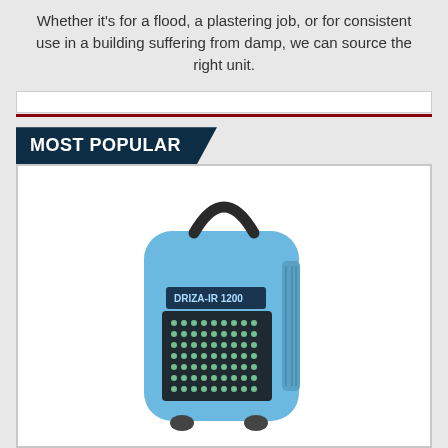Whether it's for a flood, a plastering job, or for consistent use in a building suffering from damp, we can source the right unit.
[Figure (other): Search bar input field with red underline]
MOST POPULAR
[Figure (photo): Blue industrial dehumidifier unit (Driza-ir 1200) with black handle on top and ventilation grille on front, shown on white background]